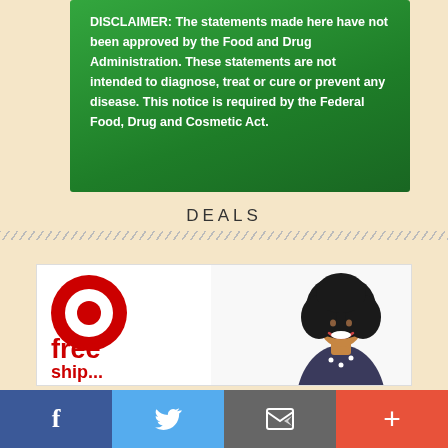DISCLAIMER: The statements made here have not been approved by the Food and Drug Administration. These statements are not intended to diagnose, treat or cure or prevent any disease. This notice is required by the Federal Food, Drug and Cosmetic Act.
DEALS
[Figure (infographic): Target advertisement banner with Target bullseye logo, 'free shipping' text in red, and a smiling woman with natural hair on the right side]
[Figure (infographic): Social sharing bar with Facebook (blue), Twitter (light blue), Email (gray), and More/Plus (orange-red) buttons]